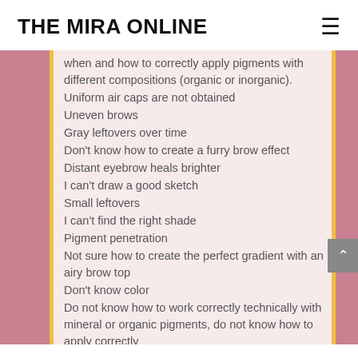THE MIRA ONLINE
when and how to correctly apply pigments with different compositions (organic or inorganic).
Uniform air caps are not obtained
Uneven brows
Gray leftovers over time
Don't know how to create a furry brow effect
Distant eyebrow heals brighter
I can't draw a good sketch
Small leftovers
I can't find the right shade
Pigment penetration
Not sure how to create the perfect gradient with an airy brow top
Don't know color
Do not know how to work correctly technically with mineral or organic pigments, do not know how to apply correctly